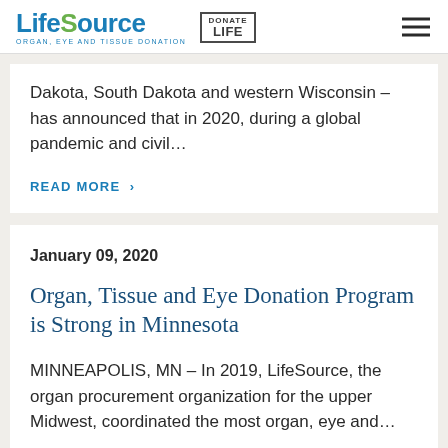LifeSource — ORGAN, EYE AND TISSUE DONATION | Donate Life
Dakota, South Dakota and western Wisconsin – has announced that in 2020, during a global pandemic and civil…
READ MORE ›
January 09, 2020
Organ, Tissue and Eye Donation Program is Strong in Minnesota
MINNEAPOLIS, MN – In 2019, LifeSource, the organ procurement organization for the upper Midwest, coordinated the most organ, eye and…